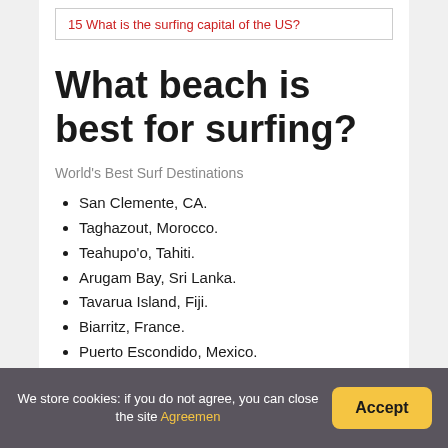15 What is the surfing capital of the US?
What beach is best for surfing?
World's Best Surf Destinations
San Clemente, CA.
Taghazout, Morocco.
Teahupo'o, Tahiti.
Arugam Bay, Sri Lanka.
Tavarua Island, Fiji.
Biarritz, France.
Puerto Escondido, Mexico.
Hanalei Bay, Kauai. The answer and how to...
We store cookies: if you do not agree, you can close the site Agreemen
Accept